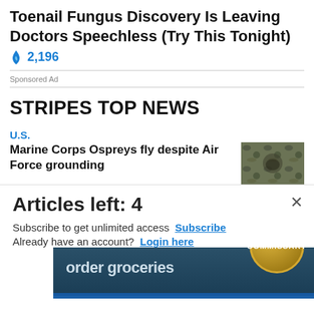Toenail Fungus Discovery Is Leaving Doctors Speechless (Try This Tonight)
🔥 2,196
Sponsored Ad
STRIPES TOP NEWS
U.S.
Marine Corps Ospreys fly despite Air Force grounding
[Figure (photo): Military/camouflage photo thumbnail]
[Figure (infographic): Commissary Click2Go advertisement banner]
Articles left: 4
Subscribe to get unlimited access  Subscribe
Already have an account?  Login here